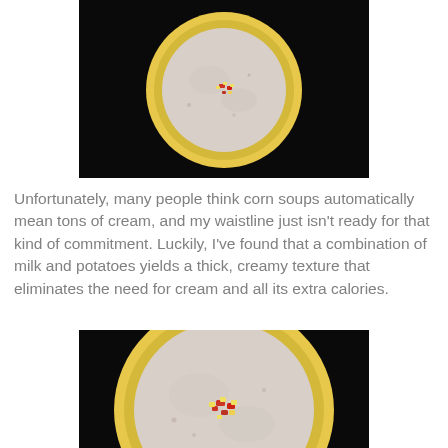[Figure (photo): Top-down view of a yellow bowl of creamy corn soup garnished with corn kernels and red pepper pieces, sitting on a blue decorative tile/coaster, against a black background.]
Unfortunately, many people think corn soups automatically mean tons of cream, and my waistline just isn't ready for that kind of commitment. Luckily, I've found that a combination of milk and potatoes yields a thick, creamy texture that eliminates the need for cream and all its extra calories.
[Figure (photo): Close-up top-down view of a yellow bowl of creamy corn soup garnished with corn kernels and red pepper pieces, against a black background.]